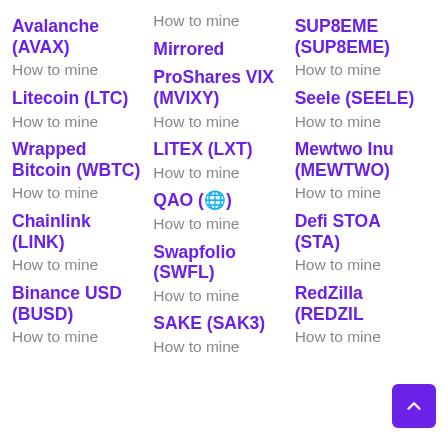Avalanche (AVAX)
How to mine
How to mine Mirrored
SUP8EME (SUP8EME)
How to mine
ProShares VIX (MVIXY)
How to mine
Litecoin (LTC)
How to mine
How to mine
Seele (SEELE)
How to mine
Wrapped Bitcoin (WBTC)
LITEX (LXT)
Mewtwo Inu (MEWTWO)
How to mine
How to mine
How to mine
How to mine
QAO (🌐)
How to mine
Chainlink (LINK)
How to mine
Defi STOA (STA)
How to mine
Swapfolio (SWFL)
How to mine
How to mine
How to mine
Binance USD (BUSD)
SAKE (SAK3)
RedZilla (REDZIL...
How to mine
How to mine
How to mine